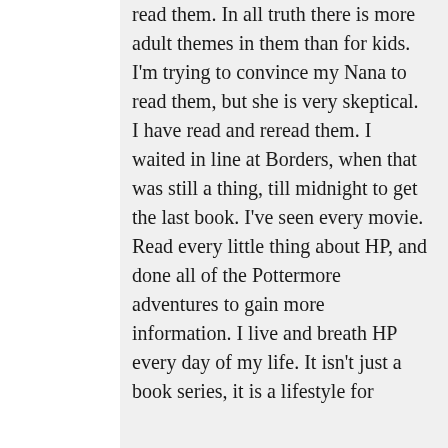read them. In all truth there is more adult themes in them than for kids. I'm trying to convince my Nana to read them, but she is very skeptical. I have read and reread them. I waited in line at Borders, when that was still a thing, till midnight to get the last book. I've seen every movie. Read every little thing about HP, and done all of the Pottermore adventures to gain more information. I live and breath HP every day of my life. It isn't just a book series, it is a lifestyle for